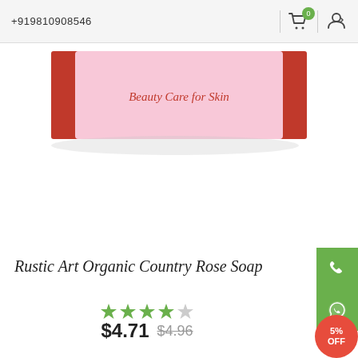+919810908546
[Figure (photo): Product photo of Rustic Art Organic Country Rose Soap — a pink and red rectangular soap box with 'Beauty Care for Skin' text on it, on a white background.]
Rustic Art Organic Country Rose Soap
★★★★☆ (4 out of 5 stars)
$4.71  $4.96
5% OFF